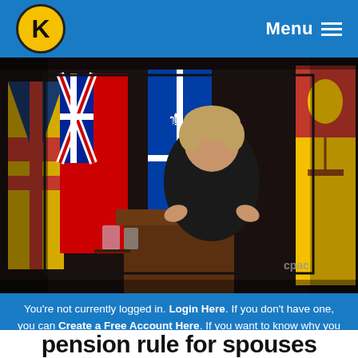K Menu
[Figure (screenshot): Video still from CPAC showing a woman in a black jacket speaking at a podium, with Canadian provincial flags displayed behind her in a press conference setting.]
You're not currently logged in. Login Here. If you don't have one, you can Create a Free Account Here. If you want to know why you should create an account Read This.
pension rule for spouses